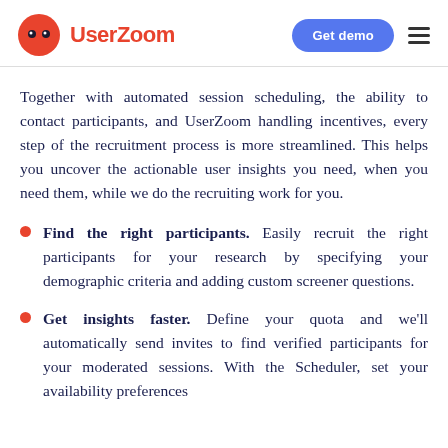UserZoom | Get demo
Together with automated session scheduling, the ability to contact participants, and UserZoom handling incentives, every step of the recruitment process is more streamlined. This helps you uncover the actionable user insights you need, when you need them, while we do the recruiting work for you.
Find the right participants. Easily recruit the right participants for your research by specifying your demographic criteria and adding custom screener questions.
Get insights faster. Define your quota and we'll automatically send invites to find verified participants for your moderated sessions. With the Scheduler, set your availability preferences